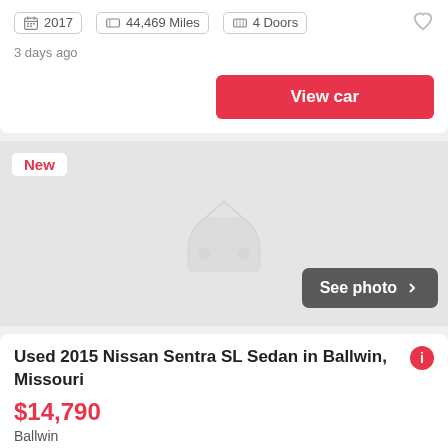2017  44,469 Miles  4 Doors
3 days ago
View car
[Figure (other): Car listing photo placeholder with grey car silhouette icon, New badge top left, See photo button bottom right]
Used 2015 Nissan Sentra SL Sedan in Ballwin, Missouri
$14,790
Ballwin
2015
11 h 22 minutes ago
View car